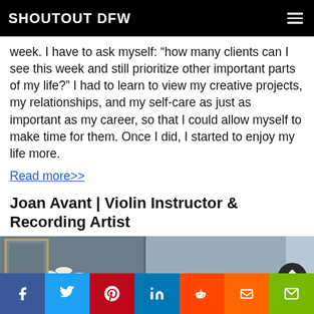SHOUTOUT DFW
week. I have to ask myself: “how many clients can I see this week and still prioritize other important parts of my life?” I had to learn to view my creative projects, my relationships, and my self-care as just as important as my career, so that I could allow myself to make time for them. Once I did, I started to enjoy my life more.
Read more>>
Joan Avant | Violin Instructor & Recording Artist
[Figure (photo): Partial interior room photo showing framed pictures and lamps on a table, with a scroll-up arrow button overlay]
Social share bar: Facebook, Twitter, Pinterest, LinkedIn, Reddit, Mix, Email